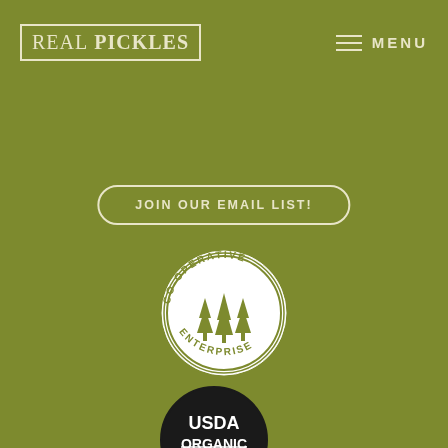[Figure (logo): Real Pickles logo — text 'REAL PICKLES' in serif font inside a rectangular border, cream colored on olive green background]
≡  MENU
JOIN OUR EMAIL LIST!
[Figure (logo): Co-operative Enterprise circular logo — white circle with three stylized pine trees in the center and text 'CO-OPERATIVE' arched at top and 'ENTERPRISE' arched at bottom]
[Figure (logo): USDA Organic circular logo — black circle with white text 'USDA' on top and 'ORGANIC' with a strikethrough style, farmland graphic at bottom]
[Figure (logo): Good Food Guild logo — green square with white bold text 'GOOD FOOD' and smaller italic 'guild' below, slightly rotated]